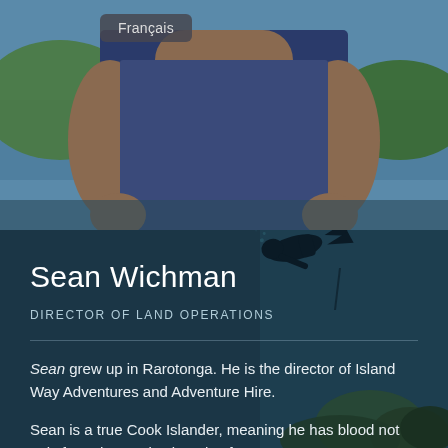[Figure (photo): Top portion: outdoor photo of a large muscular man in a navy sleeveless shirt with tropical scenery (ocean and greenery) in the background. Bottom portion: underwater scene with silhouette of a scuba diver above coral formations, forming the background for the text content.]
Français
Sean Wichman
DIRECTOR OF LAND OPERATIONS
Sean grew up in Rarotonga. He is the director of Island Way Adventures and Adventure Hire.
Sean is a true Cook Islander, meaning he has blood not only from the Cooks, but also from many European countries. He was born and raised into the entertainment arena. He is a professional dancer and has been working in the tourism industry for many years. Although Sean has a very